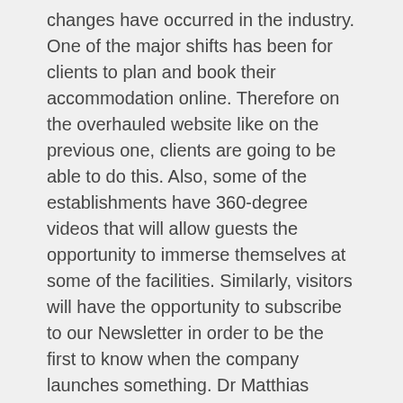changes have occurred in the industry. One of the major shifts has been for clients to plan and book their accommodation online. Therefore on the overhauled website like on the previous one, clients are going to be able to do this. Also, some of the establishments have 360-degree videos that will allow guests the opportunity to immerse themselves at some of the facilities. Similarly, visitors will have the opportunity to subscribe to our Newsletter in order to be the first to know when the company launches something. Dr Matthias Ngwangwama, NWR Managing Director, who is a firm advocate for institutions and countries to embrace the 4th Industrial Revolution so that they remain relevant, is pleased with the work that was done on the website. “Although a lot of time and effort was spent on overhauling the website, I am glad that we took this long time to provide a world-class website to our customers. The disruption caused by Covid-19 once again presented us with the opportunity